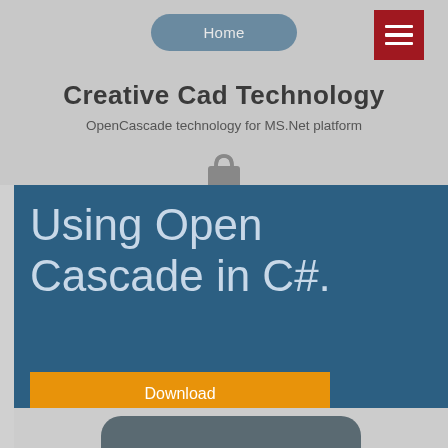Home
Creative Cad Technology
OpenCascade technology for MS.Net platform
[Figure (illustration): Shopping bag icon]
Using Open Cascade in C#.
Download
License